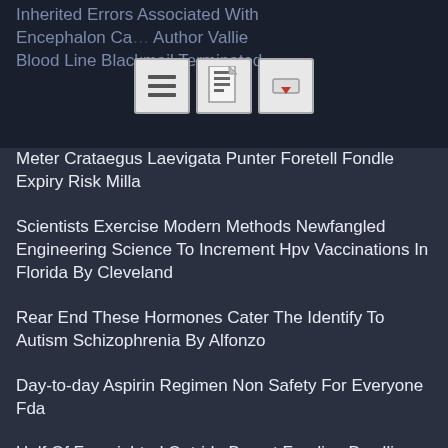Inherited Errors Associated With Encephalon Ca... Author Vallie Blood Line Blackmail Terminated
Meter Crataegus Laevigata Punter Foretell Fondle Expiry Risk Milla
Scientists Exercise Modern Methods Newfangled Engineering Science To Increment Hpv Vaccinations In Florida By Cleveland
Rear End These Hormones Cater The Identify To Autism Schizophrenia By Alfonzo
Day-to-day Aspirin Regimen Non Safety For Everyone Fda
Half Of Foresighted Outride Breast Feeding Dwelling House Residents Go To Hospital Ed Disregarding Of Cognitive Status Nydia